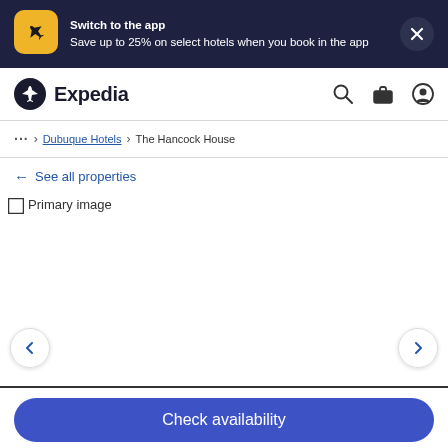Switch to the app
Save up to 25% on select hotels when you book in the app
[Figure (logo): Expedia logo and navigation bar with search, briefcase, and user icons]
... > Dubuque Hotels > The Hancock House
← See all properties
[Figure (photo): Primary image placeholder for The Hancock House hotel]
Check availability